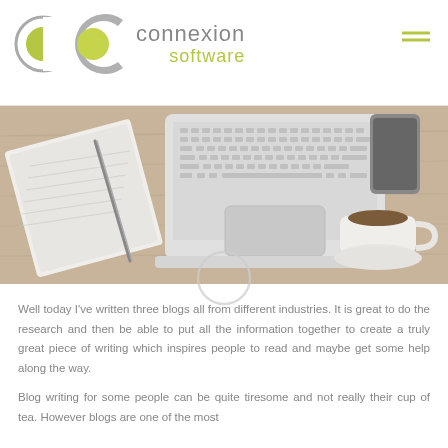[Figure (logo): Connexion Software logo with grey 'C' circle and green fill, text 'connexion' in grey and 'software' in green-yellow]
[Figure (photo): Overhead photo of a wooden desk with an open laptop, a spiral notebook with a pen, and a coffee cup with saucer and a smartphone in the background]
[Figure (other): Faint grey circle outline overlay positioned below the hero photo]
Well today I've written three blogs all from different industries. It is great to do the research and then be able to put all the information together to create a truly great piece of writing which inspires people to read and maybe get some help along the way.
Blog writing for some people can be quite tiresome and not really their cup of tea. However blogs are one of the most